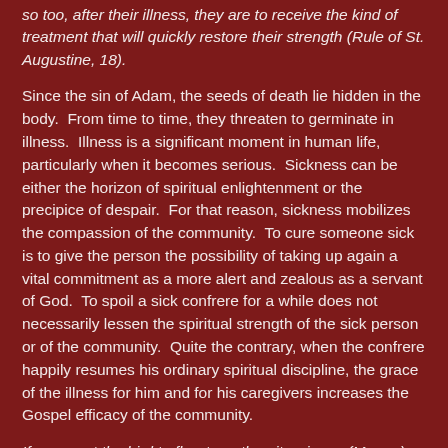so too, after their illness, they are to receive the kind of treatment that will quickly restore their strength (Rule of St. Augustine, 18).
Since the sin of Adam, the seeds of death lie hidden in the body. From time to time, they threaten to germinate in illness. Illness is a significant moment in human life, particularly when it becomes serious. Sickness can be either the horizon of spiritual enlightenment or the precipice of despair. For that reason, sickness mobilizes the compassion of the community. To cure someone sick is to give the person the possibility of taking up again a vital commitment as a more alert and zealous as a servant of God. To spoil a sick confrere for a while does not necessarily lessen the spiritual strength of the sick person or of the community. Quite the contrary, when the confrere happily resumes his ordinary spiritual discipline, the grace of the illness for him and for his caregivers increases the Gospel efficacy of the community.
If you want the bird to fly, strengthen its wings. (Mongo)